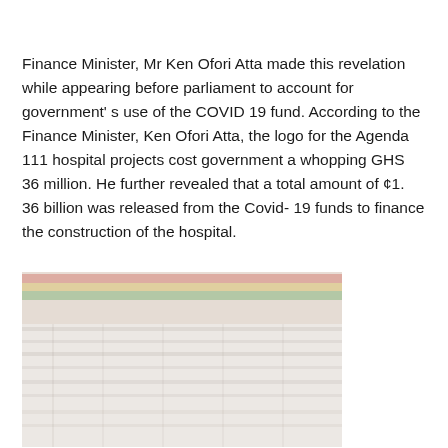Finance Minister, Mr Ken Ofori Atta made this revelation while appearing before parliament to account for government' s use of the COVID 19 fund. According to the Finance Minister, Ken Ofori Atta, the logo for the Agenda 111 hospital projects cost government a whopping GHS 36 million. He further revealed that a total amount of ¢1. 36 billion was released from the Covid- 19 funds to finance the construction of the hospital.
[Figure (photo): A faded/washed-out photograph showing a large outdoor gathering or event with people seated under colorful canopy tents or flags. The image is very light/low contrast.]